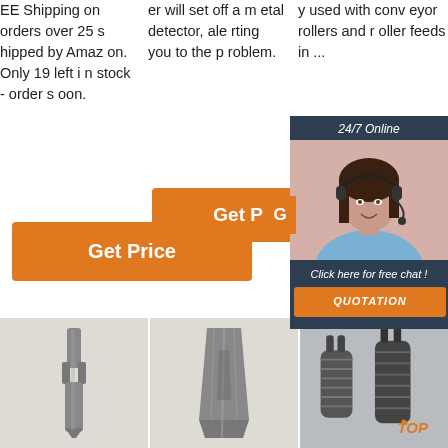EE Shipping on orders over 25 shipped by Amazon. Only 19 left in stock - order soon.
er will set off a metal detector, alerting you to the problem.
y used with conveyor rollers and roller feeds in ...
[Figure (photo): Customer service representative woman with headset, 24/7 Online chat widget with QUOTATION button]
[Figure (photo): Metal chisel / ripper tooth product image 1]
[Figure (photo): Metal chisel / ripper tooth product image 2]
[Figure (photo): Metal threaded coupling parts with TOP label]